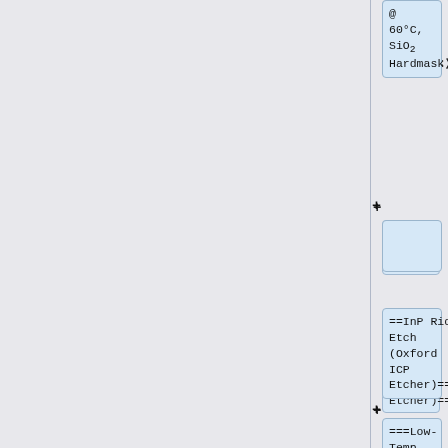@ 60°C, SiO2 Hardmask)''
+
==InP Ridge Etch (Oxford ICP Etcher)==
+
===Low-Temp (60°C) Process===
+
* [[Media:Oxford Etcher - InP Ridge Etch using